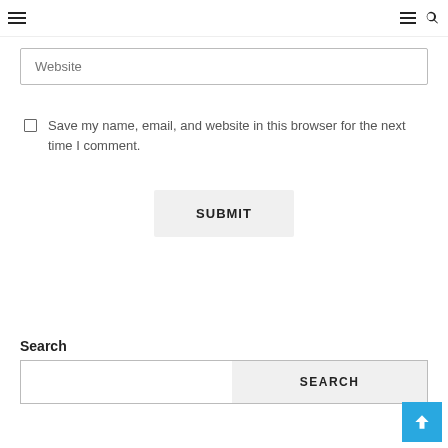Menu / Menu / Search
Website
Save my name, email, and website in this browser for the next time I comment.
SUBMIT
Search
SEARCH